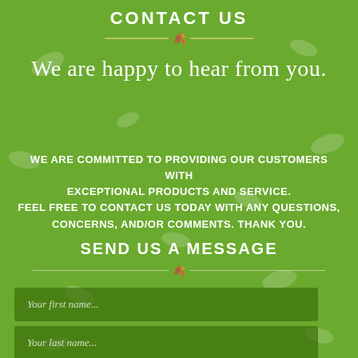CONTACT US
We are happy to hear from you.
WE ARE COMMITTED TO PROVIDING OUR CUSTOMERS WITH EXCEPTIONAL PRODUCTS AND SERVICE. FEEL FREE TO CONTACT US TODAY WITH ANY QUESTIONS, CONCERNS, AND/OR COMMENTS. THANK YOU.
SEND US A MESSAGE
Your first name...
Your last name...